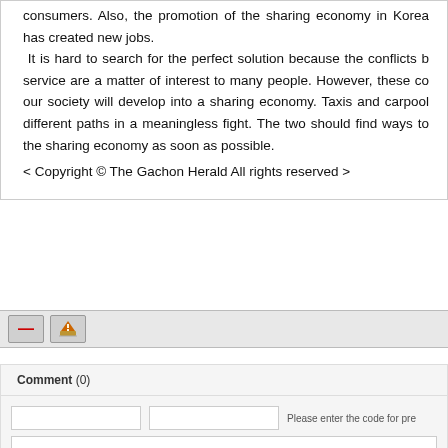consumers. Also, the promotion of the sharing economy in Korea has created new jobs. It is hard to search for the perfect solution because the conflicts between service are a matter of interest to many people. However, these conflicts will help our society will develop into a sharing economy. Taxis and carpool should not walk different paths in a meaningless fight. The two should find ways to cooperate about the sharing economy as soon as possible.
< Copyright © The Gachon Herald All rights reserved >
[Figure (screenshot): Toolbar with minus button and alert/notification icon button on grey background]
Comment (0)
[Figure (screenshot): Comment form with two input fields and code hint text, and a large textarea below]